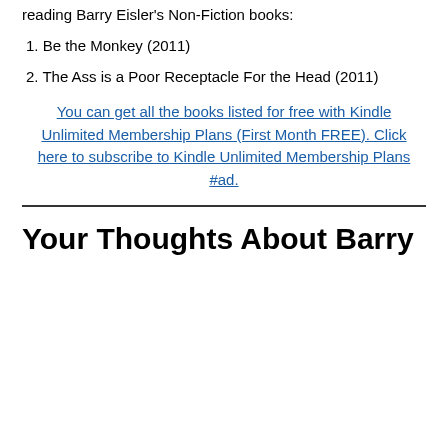reading Barry Eisler's Non-Fiction books:
1. Be the Monkey (2011)
2. The Ass is a Poor Receptacle For the Head (2011)
You can get all the books listed for free with Kindle Unlimited Membership Plans (First Month FREE). Click here to subscribe to Kindle Unlimited Membership Plans #ad.
Your Thoughts About Barry